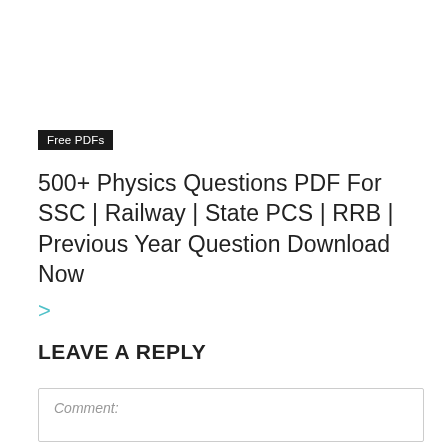Free PDFs
500+ Physics Questions PDF For SSC | Railway | State PCS | RRB | Previous Year Question Download Now
>
LEAVE A REPLY
Comment: